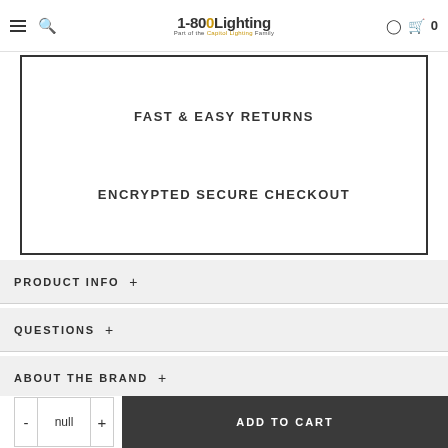1-800Lighting - Part of the Capitol Lighting Family
FAST & EASY RETURNS
ENCRYPTED SECURE CHECKOUT
PRODUCT INFO +
QUESTIONS +
ABOUT THE BRAND +
- null + ADD TO CART